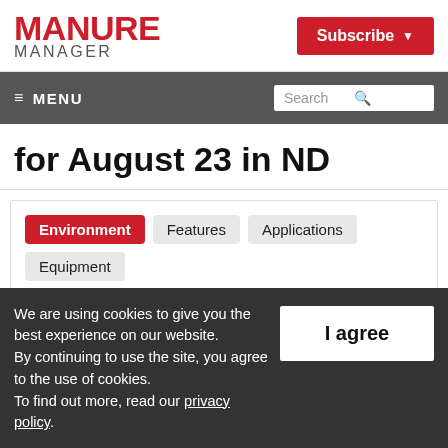MANURE MANAGER
Subscribe
≡ MENU | Search
for August 23 in ND
Environment
Features
Applications
Equipment
Manure Application
Sustainability
Swine
July 20, 2016
We are using cookies to give you the best experience on our website.
By continuing to use the site, you agree to the use of cookies.
To find out more, read our privacy policy.